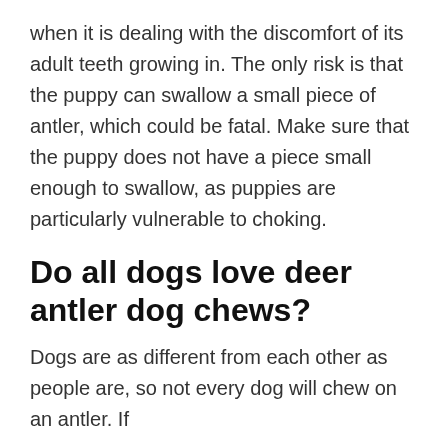when it is dealing with the discomfort of its adult teeth growing in. The only risk is that the puppy can swallow a small piece of antler, which could be fatal. Make sure that the puppy does not have a piece small enough to swallow, as puppies are particularly vulnerable to choking.
Do all dogs love deer antler dog chews?
Dogs are as different from each other as people are, so not every dog will chew on an antler. If